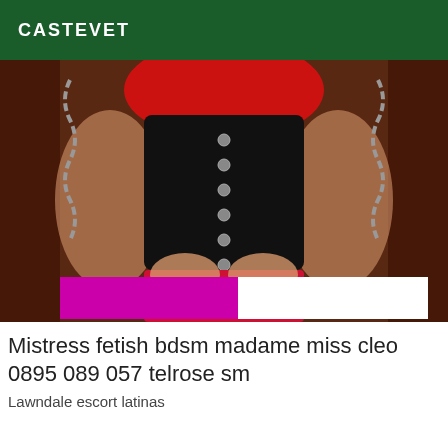CASTEVET
[Figure (photo): Photo of a person wearing a black leather corset and red lingerie with chains, with an overlaid banner showing a mirrored phone service advertisement: 'Service 0,40 € / min + prix appel' and '08 35 80 95 75' (mirrored text)]
Mistress fetish bdsm madame miss cleo 0895 089 057 telrose sm
Lawndale escort latinas